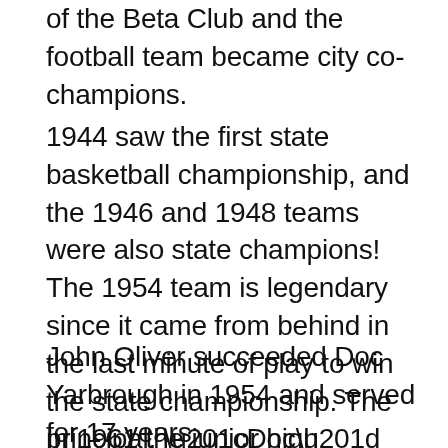of the Beta Club and the football team became city co-champions.
1944 saw the first state basketball championship, and the 1946 and 1948 teams were also state champions! The 1954 team is legendary since it came from behind in the last minute of play to win the state championship. The principal, “Doc” Yarbrough, attended against the advice of his physician, and the team definitely went “All the Way for Doc.”  The trophies in the lobby are a tribute to all who participated in sports at West High.
John Oliver succeeded Doc Yarbrough in 1954 and served for 17 years.
In 1961 the junior high classes were removed